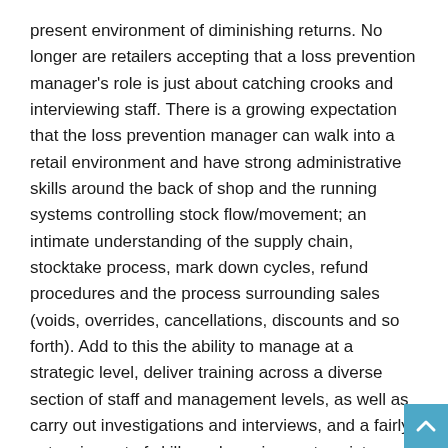present environment of diminishing returns. No longer are retailers accepting that a loss prevention manager's role is just about catching crooks and interviewing staff. There is a growing expectation that the loss prevention manager can walk into a retail environment and have strong administrative skills around the back of shop and the running systems controlling stock flow/movement; an intimate understanding of the supply chain, stocktake process, mark down cycles, refund procedures and the process surrounding sales (voids, overrides, cancellations, discounts and so forth). Add to this the ability to manage at a strategic level, deliver training across a diverse section of staff and management levels, as well as carry out investigations and interviews, and a fairly extensive set of skills and requirements exists.
Which raises the original question – who would make a better loss prevention manager, somebody with a retail background